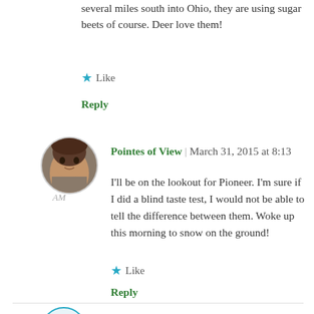several miles south into Ohio, they are using sugar beets of course. Deer love them!
★ Like
Reply
Pointes of View | March 31, 2015 at 8:13 AM
I'll be on the lookout for Pioneer. I'm sure if I did a blind taste test, I would not be able to tell the difference between them. Woke up this morning to snow on the ground!
★ Like
Reply